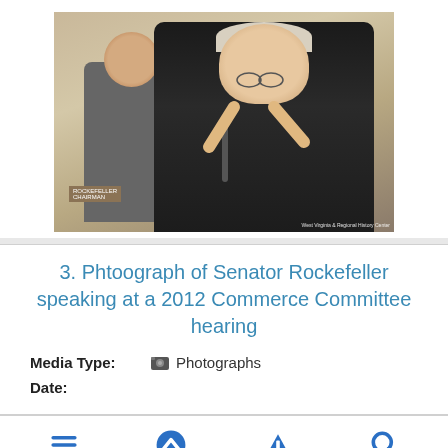[Figure (photo): Photograph of Senator Rockefeller speaking at a committee hearing, gesturing with both hands raised, wearing a dark suit and light tie. A nameplate reading 'ROCKEFELLER CHAIRMAN' is visible. Another person sits behind him. Watermark: West Virginia & Regional History Center.]
3. Phtoograph of Senator Rockefeller speaking at a 2012 Commerce Committee hearing
Media Type:  Photographs
Date: